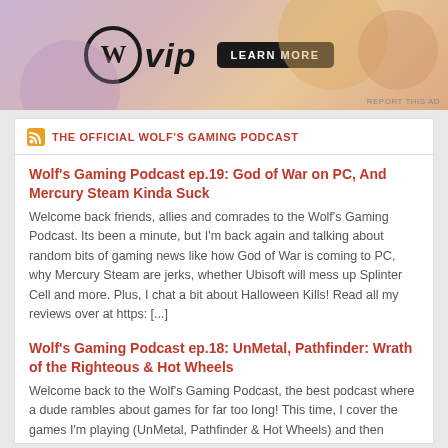[Figure (illustration): WordPress VIP advertisement banner with logo, 'vip' text in italic, and a dark button. Pink/peach gradient background with decorative circles.]
THE OFFICIAL WOLF'S GAMING PODCAST
Wolf's Gaming Podcast ep.19: God of War on PC, And Mercury Steam Kinda Suck
Welcome back friends, allies and comrades to the Wolf's Gaming Podcast. Its been a minute, but I'm back again and talking about random bits of gaming news like how God of War is coming to PC, why Mercury Steam are jerks, whether Ubisoft will mess up Splinter Cell and more. Plus, I chat a bit about Halloween Kills! Read all my reviews over at https: [...]
Wolf's Gaming Podcast ep.18: UnMetal, Pathfinder: Wrath of the Righteous & Hot Wheels
Welcome back to the Wolf's Gaming Podcast, the best podcast where a dude rambles about games for far too long! This time, I cover the games I'm playing (UnMetal, Pathfinder & Hot Wheels) and then tackle the news, including the GTA trilogy remaster, Sony buying even more studios, the big Nvidia leak and more. For [...]